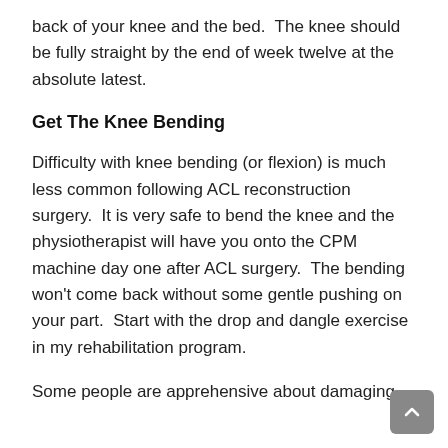back of your knee and the bed.  The knee should be fully straight by the end of week twelve at the absolute latest.
Get The Knee Bending
Difficulty with knee bending (or flexion) is much less common following ACL reconstruction surgery.  It is very safe to bend the knee and the physiotherapist will have you onto the CPM machine day one after ACL surgery.  The bending won't come back without some gentle pushing on your part.  Start with the drop and dangle exercise in my rehabilitation program.
Some people are apprehensive about damaging their reconstruction.  This may be an obstacle to...